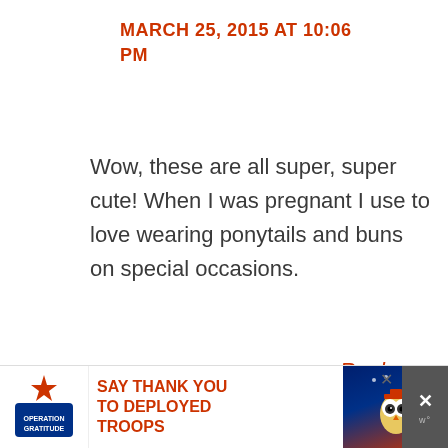MARCH 25, 2015 AT 10:06 PM
Wow, these are all super, super cute! When I was pregnant I use to love wearing ponytails and buns on special occasions.
Reply
[Figure (other): Share button icon (circular with share symbol and plus sign)]
[Figure (other): Advertisement banner: Operation Gratitude - SAY THANK YOU TO DEPLOYED TROOPS, with patriotic imagery and cartoon owl mascot]